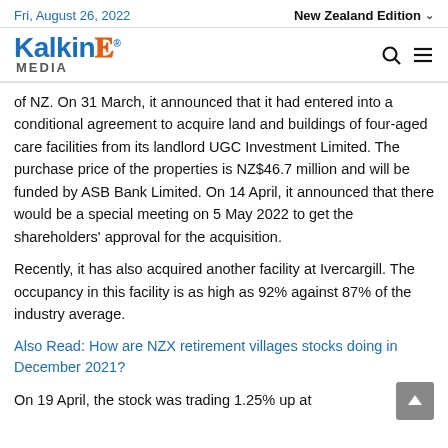Fri, August 26, 2022 | New Zealand Edition
[Figure (logo): Kalkine Media logo with blue Kalkine text and orange E, with MEDIA subtitle]
of NZ. On 31 March, it announced that it had entered into a conditional agreement to acquire land and buildings of four-aged care facilities from its landlord UGC Investment Limited. The purchase price of the properties is NZ$46.7 million and will be funded by ASB Bank Limited. On 14 April, it announced that there would be a special meeting on 5 May 2022 to get the shareholders' approval for the acquisition.
Recently, it has also acquired another facility at Ivercargill. The occupancy in this facility is as high as 92% against 87% of the industry average.
Also Read: How are NZX retirement villages stocks doing in December 2021?
On 19 April, the stock was trading 1.25% up at